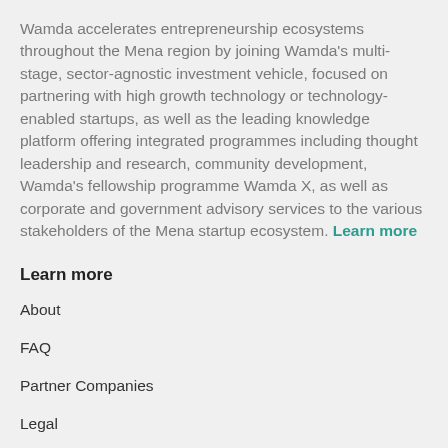Wamda accelerates entrepreneurship ecosystems throughout the Mena region by joining Wamda's multi-stage, sector-agnostic investment vehicle, focused on partnering with high growth technology or technology-enabled startups, as well as the leading knowledge platform offering integrated programmes including thought leadership and research, community development, Wamda's fellowship programme Wamda X, as well as corporate and government advisory services to the various stakeholders of the Mena startup ecosystem. Learn more
Learn more
About
FAQ
Partner Companies
Legal
Explore